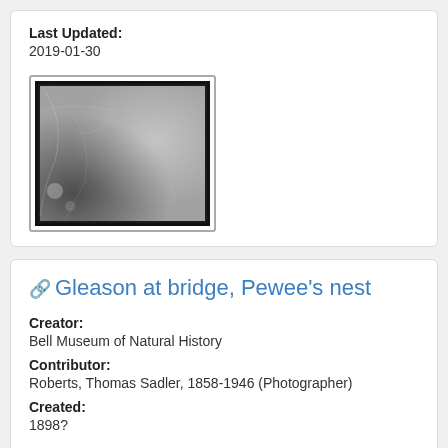Last Updated:
2019-01-30
[Figure (photo): Black and white historical photograph showing frost or ice crystal patterns on a surface, with dark border.]
Gleason at bridge, Pewee's nest
Creator:
Bell Museum of Natural History
Contributor:
Roberts, Thomas Sadler, 1858-1946 (Photographer)
Created:
1898?